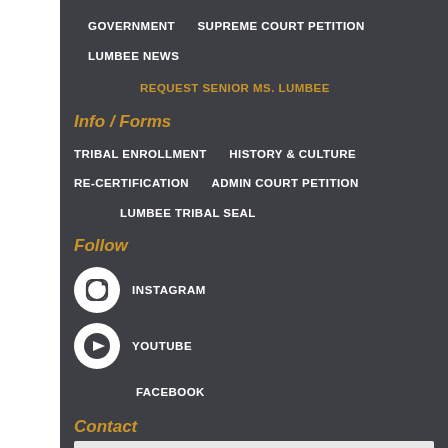GOVERNMENT
SUPREME COURT PETITION
LUMBEE NEWS
REQUEST SENIOR MS. LUMBEE
Info / Forms
TRIBAL ENROLLMENT
HISTORY & CULTURE
RE-CERTIFICATION
ADMIN COURT PETITION
LUMBEE TRIBAL SEAL
Follow
INSTAGRAM
YOUTUBE
FACEBOOK
Contact